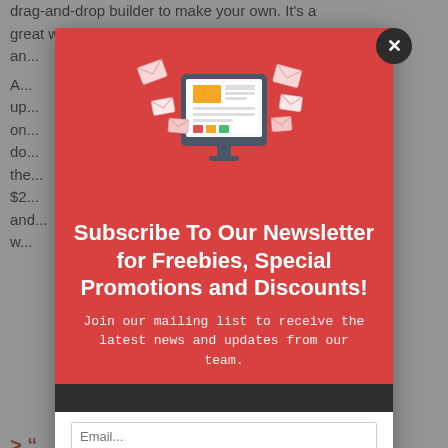drag-and-drop builder to make your own. It's a great way to supercharge your store with upsell and...
A... up... on... do... the... $2... and... w...
[Figure (illustration): Newsletter subscription modal popup with red background, showing an illustration of a computer monitor displaying a newspaper/newsletter with envelopes flying around it. The modal contains bold white text: 'Subscribe To Our Newsletter for Freebies, Special Promotions and Discounts!' followed by subtext 'Join our mailing list to receive the latest news and updates from our team.' Below is a dark strip and an email input field. A dark circular X close button appears at the top right of the modal. In the background, partially visible article text and a section heading about 'becoming a 6-figure a month' store is visible.]
> “
to becoming a 6-figure a month